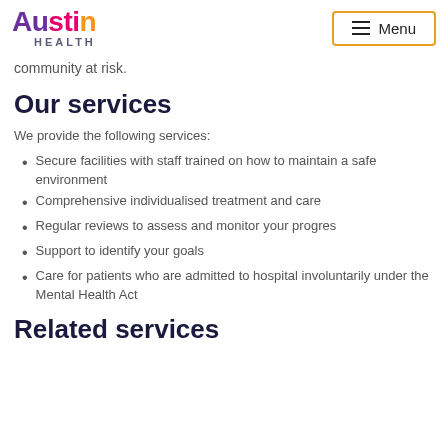Austin Health — Menu
community at risk.
Our services
We provide the following services:
Secure facilities with staff trained on how to maintain a safe environment
Comprehensive individualised treatment and care
Regular reviews to assess and monitor your progres
Support to identify your goals
Care for patients who are admitted to hospital involuntarily under the Mental Health Act
Related services